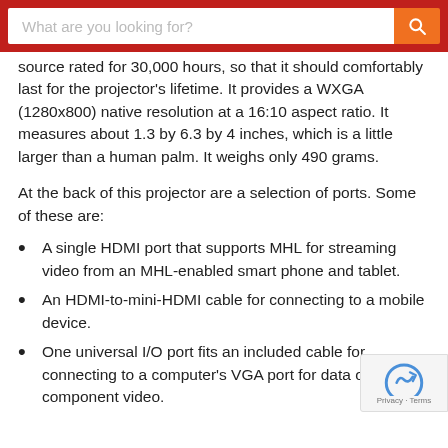What are you looking for?
source rated for 30,000 hours, so that it should comfortably last for the projector’s lifetime. It provides a WXGA (1280x800) native resolution at a 16:10 aspect ratio. It measures about 1.3 by 6.3 by 4 inches, which is a little larger than a human palm. It weighs only 490 grams.
At the back of this projector are a selection of ports. Some of these are:
A single HDMI port that supports MHL for streaming video from an MHL-enabled smart phone and tablet.
An HDMI-to-mini-HDMI cable for connecting to a mobile device.
One universal I/O port fits an included cable for connecting to a computer’s VGA port for data or component video.